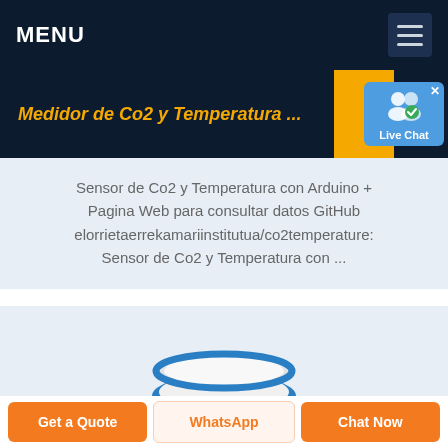MENU
Medidor de Co2 y Temperatura ...
[Figure (other): Live Chat support badge with two person icons and checkmark on blue background]
Sensor de Co2 y Temperatura con Arduino + Pagina Web para consultar datos GitHub elorrietaerrekamariinstitutua/co2temperature: Sensor de Co2 y Temperatura con ...
[Figure (photo): CO2 sensor product photo on light gray background, showing a circular white and blue sensor device with text on it]
Get a Quote | WhatsApp | Chat Now